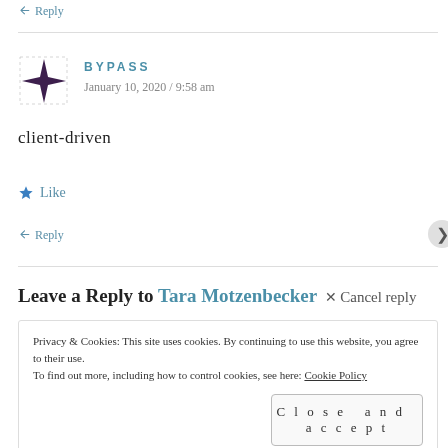↩ Reply
BYPASS
January 10, 2020 / 9:58 am
client-driven
★ Like
↩ Reply
Leave a Reply to Tara Motzenbecker × Cancel reply
Privacy & Cookies: This site uses cookies. By continuing to use this website, you agree to their use.
To find out more, including how to control cookies, see here: Cookie Policy
Close and accept